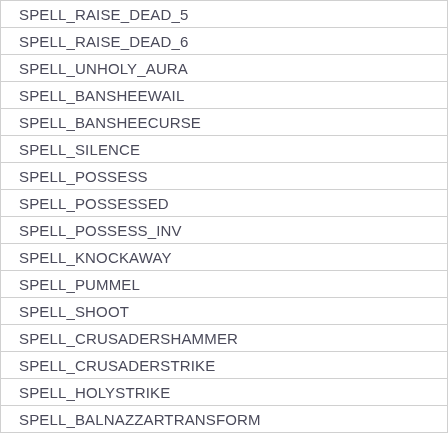| SPELL_RAISE_DEAD_5 |
| SPELL_RAISE_DEAD_6 |
| SPELL_UNHOLY_AURA |
| SPELL_BANSHEEWAIL |
| SPELL_BANSHEECURSE |
| SPELL_SILENCE |
| SPELL_POSSESS |
| SPELL_POSSESSED |
| SPELL_POSSESS_INV |
| SPELL_KNOCKAWAY |
| SPELL_PUMMEL |
| SPELL_SHOOT |
| SPELL_CRUSADERSHAMMER |
| SPELL_CRUSADERSTRIKE |
| SPELL_HOLYSTRIKE |
| SPELL_BALNAZZARTRANSFORM |